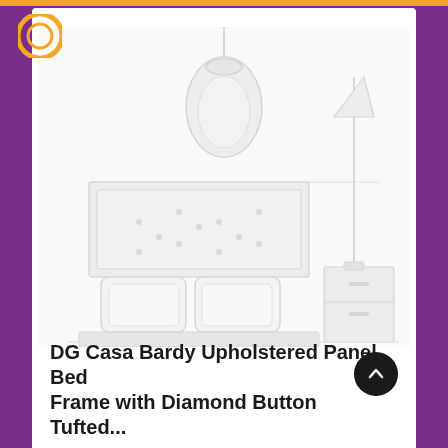[Figure (illustration): A faint line-art illustration of a bedroom scene showing a bed with pillows and a headboard panel, a hanging round pendant lamp above, and a floor lamp or hanging garment on the right side. The illustration is very light/ghosted in gray tones on white background.]
DG Casa Bardy Upholstered Panel Bed Frame with Diamond Button Tufted...